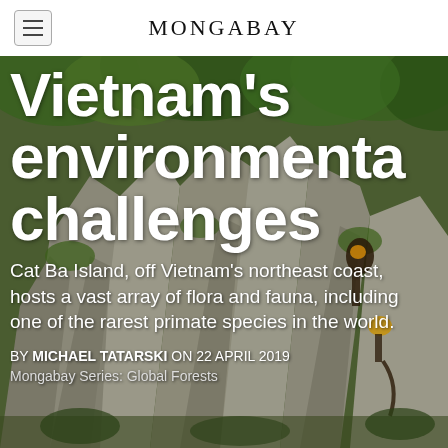MONGABAY
[Figure (photo): Photo of Cat Ba Island karst limestone rocks with golden-headed langur primates perched on rocks, surrounded by tropical green vegetation in Vietnam]
Vietnam's environmental challenges
Cat Ba Island, off Vietnam's northeast coast, hosts a vast array of flora and fauna, including one of the rarest primate species in the world.
BY MICHAEL TATARSKI ON 22 APRIL 2019
Mongabay Series: Global Forests